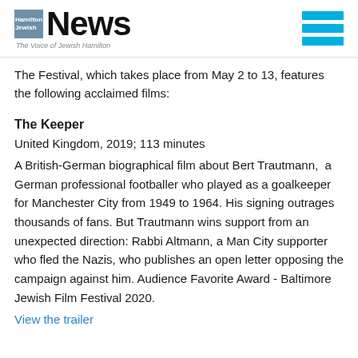Hamilton Jewish News — The Voice of Jewish Hamilton
The Festival, which takes place from May 2 to 13, features the following acclaimed films:
The Keeper
United Kingdom, 2019; 113 minutes
A British-German biographical film about Bert Trautmann, a German professional footballer who played as a goalkeeper for Manchester City from 1949 to 1964. His signing outrages thousands of fans. But Trautmann wins support from an unexpected direction: Rabbi Altmann, a Man City supporter who fled the Nazis, who publishes an open letter opposing the campaign against him. Audience Favorite Award - Baltimore Jewish Film Festival 2020.
View the trailer